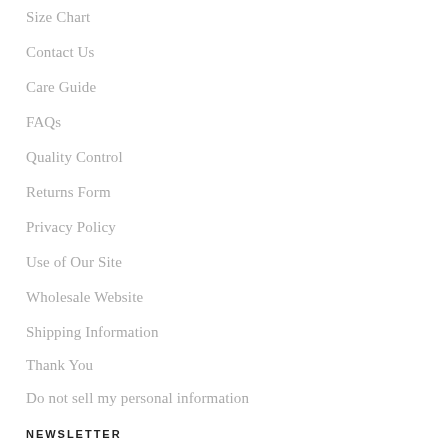Size Chart
Contact Us
Care Guide
FAQs
Quality Control
Returns Form
Privacy Policy
Use of Our Site
Wholesale Website
Shipping Information
Thank You
Do not sell my personal information
[Figure (illustration): Chat bubble icon button, circular gray button with a speech bubble icon]
NEWSLETTER